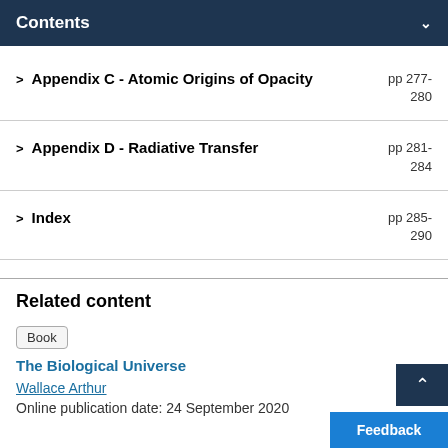Contents
> Appendix C - Atomic Origins of Opacity  pp 277-280
> Appendix D - Radiative Transfer  pp 281-284
> Index  pp 285-290
Related content
Book
The Biological Universe
Wallace Arthur
Online publication date: 24 September 2020